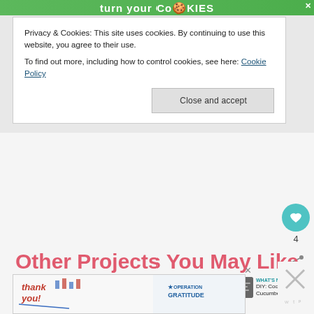[Figure (screenshot): Green cookie advertisement banner at top of page with text 'turn your CooKIES' and a cookie icon]
Privacy & Cookies: This site uses cookies. By continuing to use this website, you agree to their use.
To find out more, including how to control cookies, see here: Cookie Policy
Close and accept
Other Projects You May Like
[Figure (photo): Photo of essential oil bottle and dropper bottle on a surface]
WHAT'S NEXT → DIY: Cooling Cucumber...
[Figure (screenshot): Thank you Operation Gratitude advertisement banner at bottom]